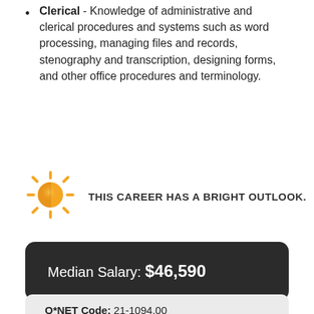Clerical - Knowledge of administrative and clerical procedures and systems such as word processing, managing files and records, stenography and transcription, designing forms, and other office procedures and terminology.
[Figure (illustration): Yellow sun icon indicating bright career outlook]
THIS CAREER HAS A BRIGHT OUTLOOK.
Median Salary: $46,590
O*NET Code: 21-1094.00